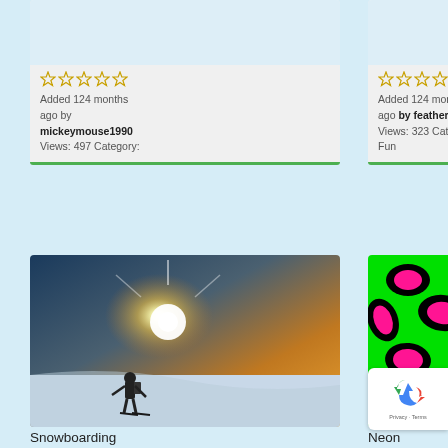[Figure (screenshot): Card with star rating, 'Added 124 months ago by mickeymouse1990, Views: 497 Category:' text, green bottom bar]
[Figure (screenshot): Card with star rating, 'Added 124 months ago by featherashi3, Views: 323 Category: Fun' text, green bottom bar]
[Figure (photo): Snowboarding photo showing a person on a snowy mountain with bright sun in golden sky]
Snowboarding
[Figure (photo): Neon green leopard print pattern with bright pink/magenta spots outlined in black]
Neon
[Figure (other): Google reCAPTCHA badge with recycling arrows icon and Privacy - Terms text]